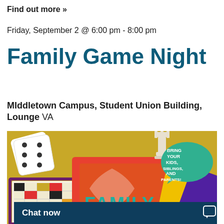Find out more »
Friday, September 2 @ 6:00 pm - 8:00 pm
Family Game Night
MIddletown Campus, Student Union Building, Lounge VA
[Figure (illustration): Family game night promotional illustration showing dice, a chess piece, playing cards, a board game, and a speech bubble saying 'BRING YOUR KIDS, SIBLINGS, AND PARENTS!' on a golden-yellow background with the word FAMILY in teal letters.]
Chat now